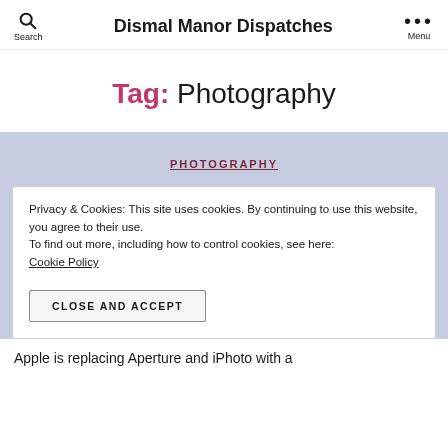Search | Dismal Manor Dispatches | Menu
Tag: Photography
PHOTOGRAPHY
Privacy & Cookies: This site uses cookies. By continuing to use this website, you agree to their use.
To find out more, including how to control cookies, see here: Cookie Policy
CLOSE AND ACCEPT
Apple is replacing Aperture and iPhoto with a